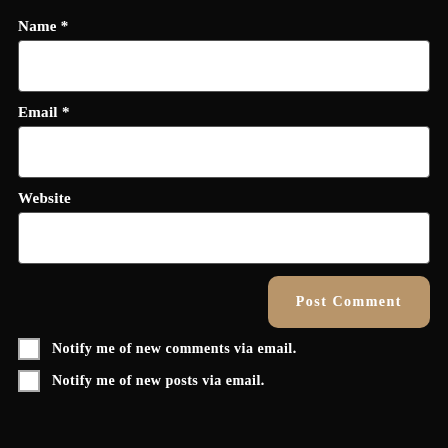Name *
[Figure (other): Empty text input field for Name]
Email *
[Figure (other): Empty text input field for Email]
Website
[Figure (other): Empty text input field for Website]
[Figure (other): Post Comment button in tan/beige color]
Notify me of new comments via email.
Notify me of new posts via email.